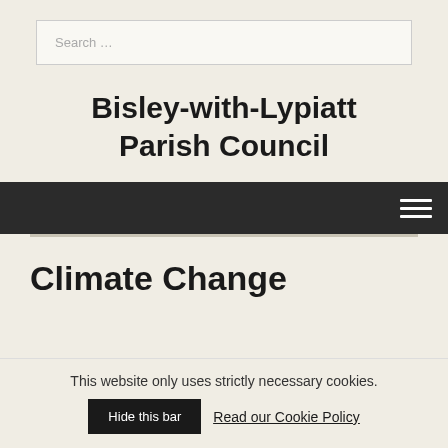Search …
Bisley-with-Lypiatt Parish Council
[Figure (other): Dark navigation bar with hamburger menu icon (three white horizontal lines) on the right side]
Climate Change
This website only uses strictly necessary cookies.
Hide this bar   Read our Cookie Policy